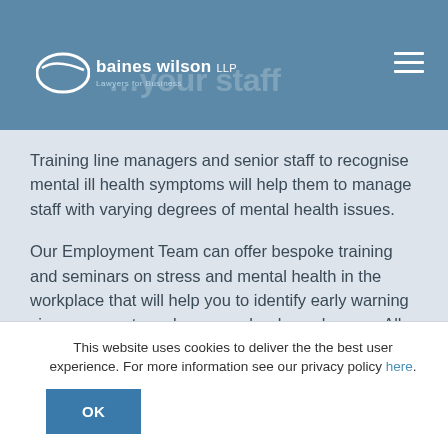baines wilson LLP — Lawyers for Business
Training line managers and senior staff to recognise mental ill health symptoms will help them to manage staff with varying degrees of mental health issues.
Our Employment Team can offer bespoke training and seminars on stress and mental health in the workplace that will help you to identify early warning signs amongst employees and reduce absence. All training can be dovetailed to help you manage your business more effectively.
This website uses cookies to deliver the the best user experience. For more information see our privacy policy here.